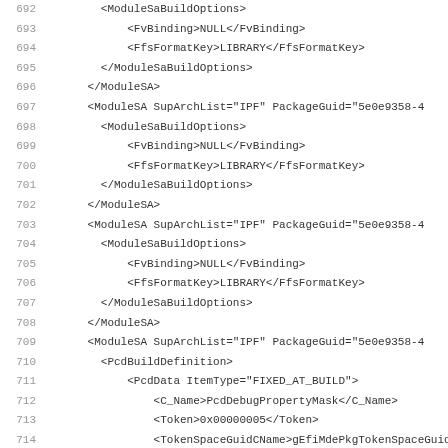[Figure (screenshot): Source code listing showing XML configuration file content with line numbers 692-723, containing ModuleSA and PcdBuildDefinition XML elements for firmware/UEFI configuration]